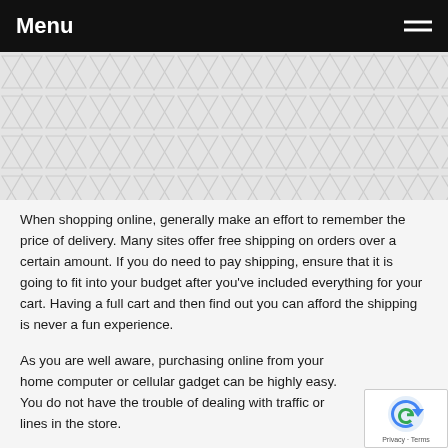Menu
[Figure (illustration): Repeating geometric triangle/chevron pattern in light gray]
When shopping online, generally make an effort to remember the price of delivery. Many sites offer free shipping on orders over a certain amount. If you do need to pay shipping, ensure that it is going to fit into your budget after you've included everything for your cart. Having a full cart and then find out you can afford the shipping is never a fun experience.
As you are well aware, purchasing online from your home computer or cellular gadget can be highly easy. You do not have the trouble of dealing with traffic or lines in the store.